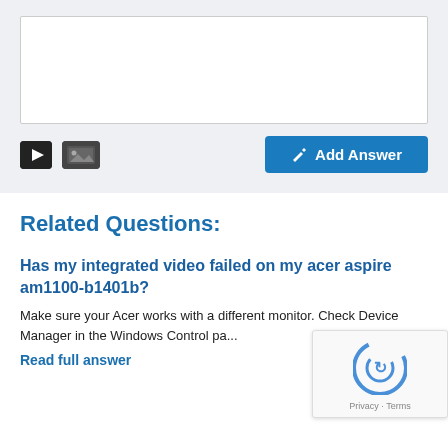[Figure (screenshot): Answer input form area with empty white textarea, a black video icon button, a black image icon button, and a blue 'Add Answer' button with pencil icon on a light gray background.]
Related Questions:
Has my integrated video failed on my acer aspire am1100-b1401b?
Make sure your Acer works with a different monitor. Check Device Manager in the Windows Control pa...
Read full answer